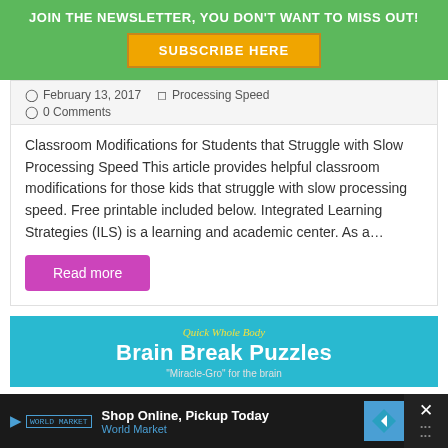JOIN THE NEWSLETTER, YOU DON'T WANT TO MISS OUT!
SUBSCRIBE HERE
February 13, 2017   Processing Speed
0 Comments
Classroom Modifications for Students that Struggle with Slow Processing Speed This article provides helpful classroom modifications for those kids that struggle with slow processing speed. Free printable included below. Integrated Learning Strategies (ILS) is a learning and academic center. As a…
Read more
[Figure (infographic): Brain Break Puzzles advertisement banner with cyan background, showing italic yellow 'Quick Whole Body' script, bold white 'Brain Break Puzzles' title, and gray subtitle '"Miracle-Gro" for the brain']
Shop Online, Pickup Today  World Market